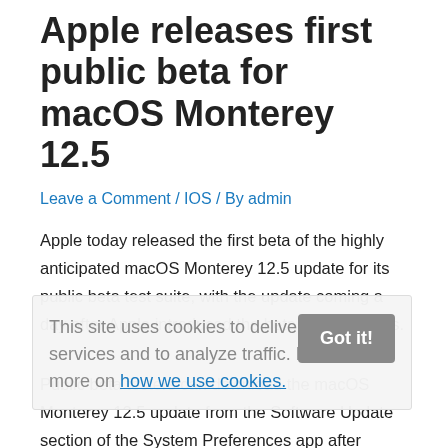Apple releases first public beta for macOS Monterey 12.5
Leave a Comment / IOS / By admin
Apple today released the first beta of the highly anticipated macOS Monterey 12.5 update for its public beta test suite, with the update coming a day after Apple introduced the beta to developers.
Public beta testers can download the macOS Monterey 12.5 update from the Software Update section of the System Preferences app after installing the appropriate profile from Apple's beta software website.
This site uses cookies to deliver its services and to analyze traffic. Find out more on how we use cookies.
There's no information yet about what new features or changes might be included in macOS Monterey 12.5, and nothing new has been found in the first developer beta. Apple hasn't provided any